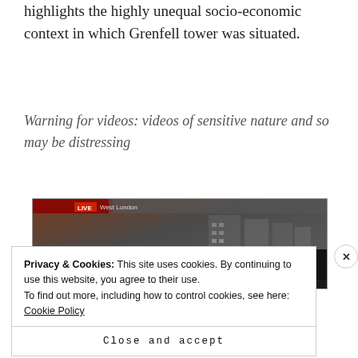highlights the highly unequal socio-economic context in which Grenfell tower was situated.
Warning for videos: videos of sensitive nature and so may be distressing
[Figure (screenshot): Screenshot of a video player showing 'Grenfell Tower Fire Interview - ...' with a LIVE West London banner, a red circle avatar with letter B, and video thumbnail showing building and person]
Privacy & Cookies: This site uses cookies. By continuing to use this website, you agree to their use.
To find out more, including how to control cookies, see here: Cookie Policy
Close and accept